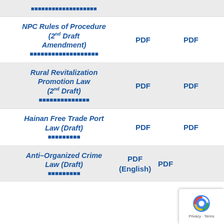NPC Rules of Procedure (2nd Draft Amendment) [Chinese text]
Rural Revitalization Promotion Law (2nd Draft) [Chinese text]
Hainan Free Trade Port Law (Draft) [Chinese text]
Anti-Organized Crime Law (Draft) [Chinese text]